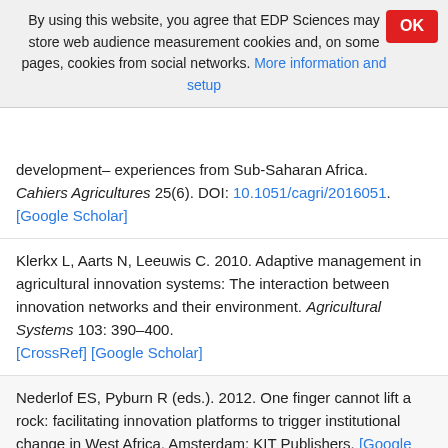By using this website, you agree that EDP Sciences may store web audience measurement cookies and, on some pages, cookies from social networks. More information and setup
development– experiences from Sub-Saharan Africa. Cahiers Agricultures 25(6). DOI: 10.1051/cagri/2016051. [Google Scholar]
Klerkx L, Aarts N, Leeuwis C. 2010. Adaptive management in agricultural innovation systems: The interaction between innovation networks and their environment. Agricultural Systems 103: 390–400. [CrossRef] [Google Scholar]
Nederlof ES, Pyburn R (eds.). 2012. One finger cannot lift a rock: facilitating innovation platforms to trigger institutional change in West Africa. Amsterdam: KIT Publishers. [Google Scholar]